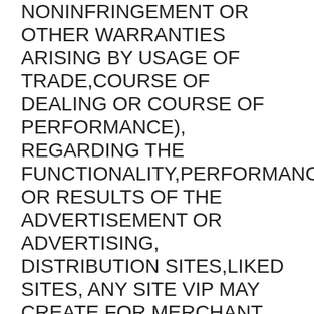NONINFRINGEMENT OR OTHER WARRANTIES ARISING BY USAGE OF TRADE,COURSE OF DEALING OR COURSE OF PERFORMANCE), REGARDING THE FUNCTIONALITY,PERFORMANCE OR RESULTS OF THE ADVERTISEMENT OR ADVERTISING, DISTRIBUTION SITES,LIKED SITES, ANY SITE VIP MAY CREATE FOR MERCHANT, OR OTHERWISE UNDER ORRELATED TO THIS Agreement.
(b)
ProofCopy    VIP is obligated to provide and does not warrant it will provide Merchantwith a proof copy (or “ad copy”) of the advertising. Merchant's obligation topay is not contingent upon Merchant's receipt or approval of the proof copy,regardless of whether a proof copy is requested for the